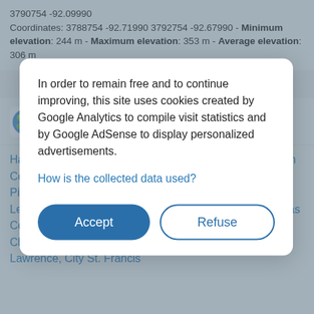Coordinates: 3788754 -92.71990 3792754 -92.67990 - Minimum elevation: 244 m - Maximum elevation: 353 m - Average elevation: 306 m
Jennings
United States > Missouri > Saint Louis County > Jennings >
In order to remain free and to continue improving, this site uses cookies created by Google Analytics to compile visit statistics and by Google AdSense to display personalized advertisements.
How is the collected data used?
Accept
Refuse
Harrison County, Livingston County, Cole County, Newton County, Saline County, Wentworth, Ozark County, Pineville, Camden County, Dent County, Howell County, Lewis County, Barton County, Saint Charles County, Texas County, Pettis County, Vernon County, Clearmont, Christian County, Estes, Howard County, Polk County, Lawrence, City St. Francis